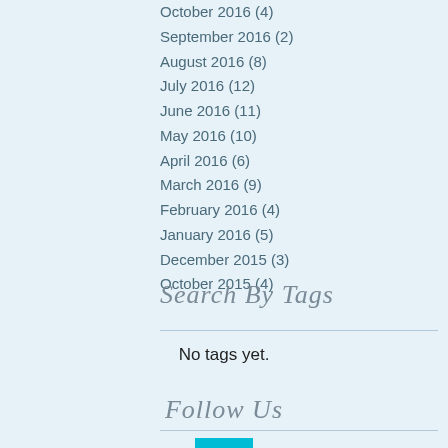October 2016 (4)
September 2016 (2)
August 2016 (8)
July 2016 (12)
June 2016 (11)
May 2016 (10)
April 2016 (6)
March 2016 (9)
February 2016 (4)
January 2016 (5)
December 2015 (3)
October 2015 (4)
Search By Tags
No tags yet.
Follow Us